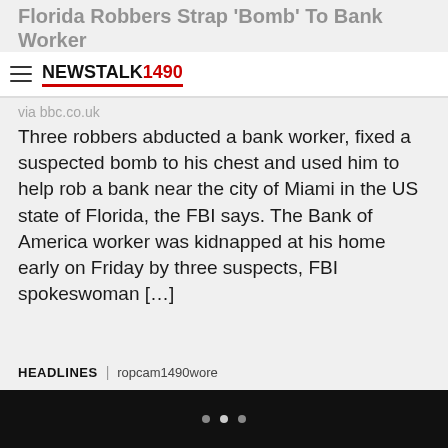Florida Robbers Strap 'Bomb' To Bank Worker In Heist
[Figure (logo): NEWS TALK 1490 logo with hamburger menu icon]
via bbc.co.uk Three robbers abducted a bank worker, fixed a suspected bomb to his chest and used him to help rob a bank near the city of Miami in the US state of Florida, the FBI says. The Bank of America worker was kidnapped at his home early on Friday by three suspects, FBI spokeswoman […]
HEADLINES | ropcam1490wore